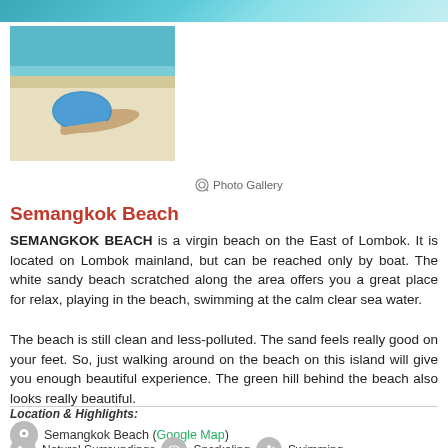[Figure (photo): Top banner photo showing turquoise beach water]
[Figure (photo): Small photo of person lying on white sandy beach with blue umbrella/hat]
Photo Gallery
Semangkok Beach
SEMANGKOK BEACH is a virgin beach on the East of Lombok. It is located on Lombok mainland, but can be reached only by boat. The white sandy beach scratched along the area offers you a great place for relax, playing in the beach, swimming at the calm clear sea water.
The beach is still clean and less-polluted. The sand feels really good on your feet. So, just walking around on the beach on this island will give you enough beautiful experience. The green hill behind the beach also looks really beautiful.
Location & Highlights:
Semangkok Beach (Google Map)
Natural Surroundings   Snorkeling   Swimming